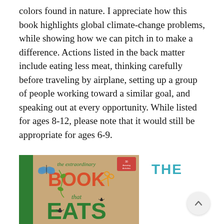colors found in nature. I appreciate how this book highlights global climate-change problems, while showing how we can pitch in to make a difference. Actions listed in the back matter include eating less meat, thinking carefully before traveling by airplane, setting up a group of people working toward a similar goal, and speaking out at every opportunity. While listed for ages 8-12, please note that it would still be appropriate for ages 6-9.
[Figure (photo): Book cover of 'The Extraordinary Book that EATS' featuring illustrations of a butterfly, insects, scissors, and green vines on a beige/kraft paper background with large colorful text]
THE